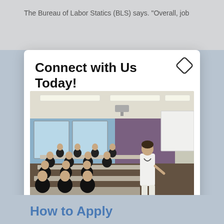The Bureau of Labor Statics (BLS) says. "Overall, job
Connect with Us Today!
[Figure (photo): A classroom scene showing nursing students in dark uniforms seated at tables, with a nursing instructor in a white coat standing at the front near a whiteboard. The room has overhead fluorescent lighting, large windows on the left, and a purple accent wall at the back.]
Bethel University nurses are in demand! Learn more about how you can be a nursing leader! Call
How to Apply